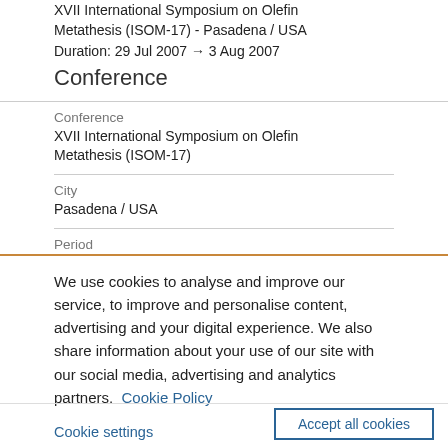XVII International Symposium on Olefin Metathesis (ISOM-17) - Pasadena / USA
Duration: 29 Jul 2007 → 3 Aug 2007
Conference
| Conference | City | Period |
| --- | --- | --- |
| XVII International Symposium on Olefin Metathesis (ISOM-17) | Pasadena / USA |  |
We use cookies to analyse and improve our service, to improve and personalise content, advertising and your digital experience. We also share information about your use of our site with our social media, advertising and analytics partners.  Cookie Policy
Cookie settings
Accept all cookies